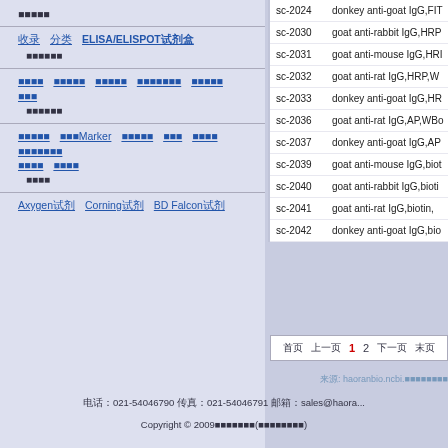■■■■■
收录 分类  ELISA/ELISPOT试剂盒
■■■■■■
■■■■ ■■■■■ ■■■■■ ■■■■■■■ ■■■■■ ■■■
■■■■■■
■■■■■ ■■■Marker ■■■■■ ■■■ ■■■■ ■■■■■■■
■■■■ ■■■■
■■■■
Axygen试剂  Corning试剂  BD Falcon试剂
| ID | Description |
| --- | --- |
| sc-2024 | donkey anti-goat IgG,FIT... |
| sc-2030 | goat anti-rabbit IgG,HRP... |
| sc-2031 | goat anti-mouse IgG,HRP... |
| sc-2032 | goat anti-rat IgG,HRP,W... |
| sc-2033 | donkey anti-goat IgG,HR... |
| sc-2036 | goat anti-rat IgG,AP,WBo... |
| sc-2037 | donkey anti-goat IgG,AP... |
| sc-2039 | goat anti-mouse IgG,biot... |
| sc-2040 | goat anti-rabbit IgG,bioti... |
| sc-2041 | goat anti-rat IgG,biotin, ... |
| sc-2042 | donkey anti-goat IgG,bio... |
首页  上一页  1  2  下一页  末页
来源: haoranbio.ncbi.■■■■■■■■
电话：021-54046790 传真：021-54046791 邮箱：sales@haora...
Copyright © 2009■■■■■■■(■■■■■■■■)